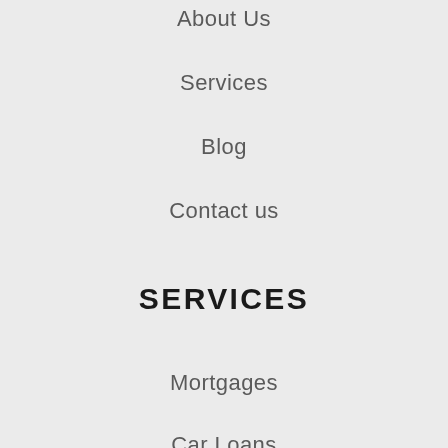About Us
Services
Blog
Contact us
SERVICES
Mortgages
Car Loans
Business & Equipment Loans
Personal...